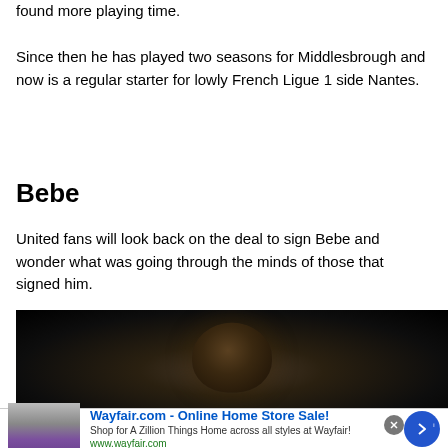found more playing time.
Since then he has played two seasons for Middlesbrough and now is a regular starter for lowly French Ligue 1 side Nantes.
Bebe
United fans will look back on the deal to sign Bebe and wonder what was going through the minds of those that signed him.
[Figure (photo): Dark photo of a person with curly hair against a dark background]
Wayfair.com - Online Home Store Sale! Shop for A Zillion Things Home across all styles at Wayfair! www.wayfair.com